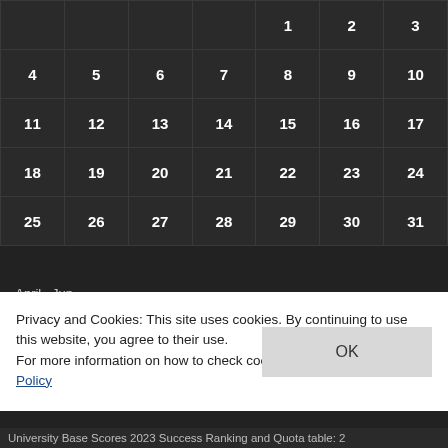| Sun | Mon | Tue | Wed | Thu | Fri | Sat |
| --- | --- | --- | --- | --- | --- | --- |
|  |  |  |  | 1 | 2 | 3 |
| 4 | 5 | 6 | 7 | 8 | 9 | 10 |
| 11 | 12 | 13 | 14 | 15 | 16 | 17 |
| 18 | 19 | 20 | 21 | 22 | 23 | 24 |
| 25 | 26 | 27 | 28 | 29 | 30 | 31 |
«April  Jun»
FREE EMAIL SUBSCRIPTION
Privacy and Cookies: This site uses cookies. By continuing to use this website, you agree to their use.
For more information on how to check cookies, see here: Cookie Policy
University Base Scores 2023 Success Ranking and Quota table: 2